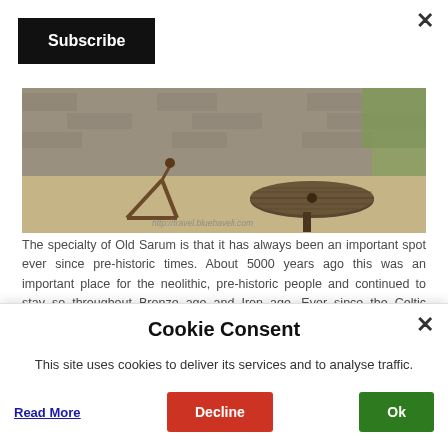[Figure (screenshot): Close button X in top right corner of webpage]
[Figure (screenshot): Subscribe button, black background, white text]
[Figure (photo): Outdoor courtyard photo showing wooden round table, catapult structure on sandy ground, stone walls in background, with watermark http://travel.bluehaveli.com]
The specialty of Old Sarum is that it has always been an important spot ever since pre-historic times. About 5000 years ago this was an important place for the neolithic, pre-historic people and continued to stay so throughout Bronze age and Iron age. Ever since the Celtic Period this became a powerful hill fort. During the Roman Era in 43 CE, this place was used from
[Figure (screenshot): Cookie Consent popup overlay with close X, title 'Cookie Consent', text 'This site uses cookies to deliver its services and to analyse traffic.', Read More link, Decline button (red), Ok button (green)]
Cookie Consent
This site uses cookies to deliver its services and to analyse traffic.
Read More
Decline
Ok